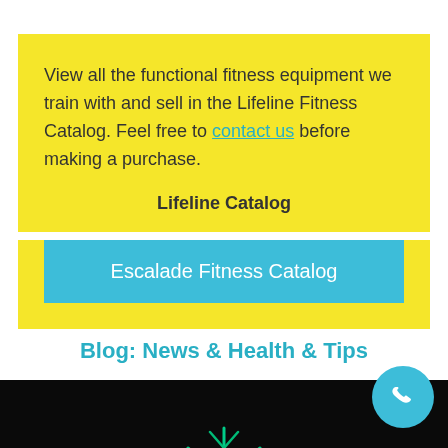View all the functional fitness equipment we train with and sell in the Lifeline Fitness Catalog. Feel free to contact us before making a purchase.
Lifeline Catalog
Escalade Fitness Catalog
Blog: News & Health & Tips
[Figure (photo): Dark background image with a glowing green spiky/virus-like object at the bottom]